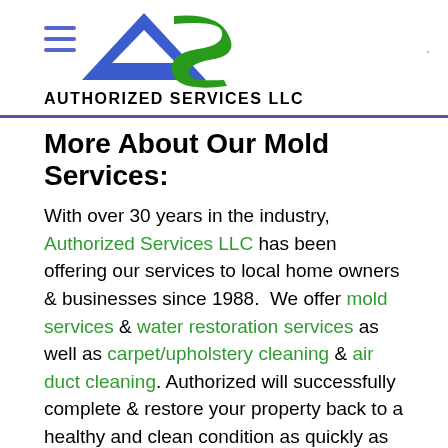[Figure (logo): Authorized Services LLC logo with blue triangle A and green S letterform, with hamburger menu lines on left, and text AUTHORIZED SERVICES LLC below]
More About Our Mold Services:
With over 30 years in the industry, Authorized Services LLC has been offering our services to local home owners & businesses since 1988.  We offer mold services & water restoration services as well as carpet/upholstery cleaning & air duct cleaning. Authorized will successfully complete & restore your property back to a healthy and clean condition as quickly as possible. Give us a call today at (941) 480-1805 to learn more about our services or use